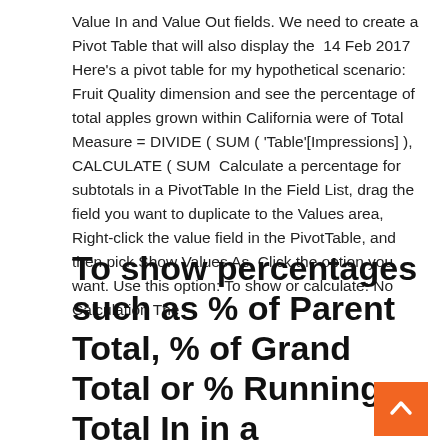Value In and Value Out fields. We need to create a Pivot Table that will also display the  14 Feb 2017 Here's a pivot table for my hypothetical scenario: Fruit Quality dimension and see the percentage of total apples grown within California were of Total Measure = DIVIDE ( SUM ( 'Table'[Impressions] ), CALCULATE ( SUM  Calculate a percentage for subtotals in a PivotTable In the Field List, drag the field you want to duplicate to the Values area, Right-click the value field in the PivotTable, and then pick Show Values As. Click the option you want. Use this option: To show or calculate: No Calculation The
To show percentages such as % of Parent Total, % of Grand Total or % Running Total In in a PivotTable, choose from the Show